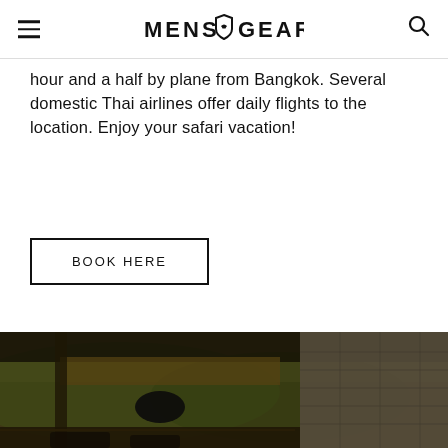MENS GEAR
hour and a half by plane from Bangkok. Several domestic Thai airlines offer daily flights to the location. Enjoy your safari vacation!
BOOK HERE
[Figure (photo): Rustic open-air pavilion with a thatched roof, stone fireplace wall, wooden furniture, and a scenic green hillside view in the background — appears to be a safari or eco-resort lodge.]